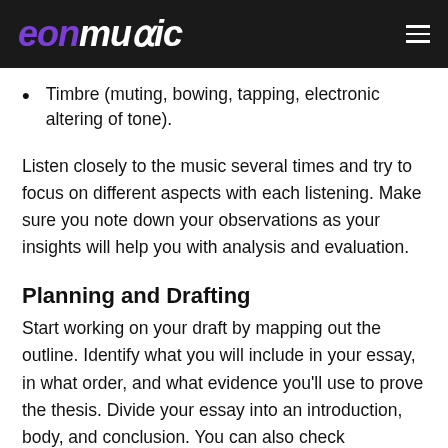eonmusic
Timbre (muting, bowing, tapping, electronic altering of tone).
Listen closely to the music several times and try to focus on different aspects with each listening. Make sure you note down your observations as your insights will help you with analysis and evaluation.
Planning and Drafting
Start working on your draft by mapping out the outline. Identify what you will include in your essay, in what order, and what evidence you'll use to prove the thesis. Divide your essay into an introduction, body, and conclusion. You can also check EssayHub writing guides to get a better